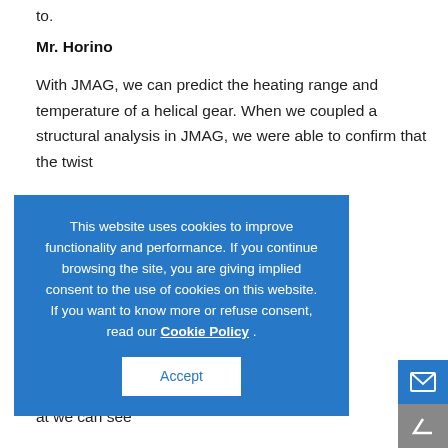to:
Mr. Horino
With JMAG, we can predict the heating range and temperature of a helical gear. When we coupled a structural analysis in JMAG, we were able to confirm that the twist he teeth spread s on the cooling hese simulations ge, amount of at we can see by looking at non. he elements
This website uses cookies to improve functionality and performance. If you continue browsing the site, you are giving implied consent to the use of cookies on this website. If you want to know more or refuse consent, read our Cookie Policy. Accept